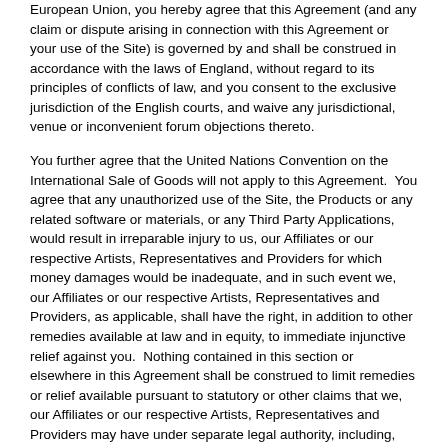European Union, you hereby agree that this Agreement (and any claim or dispute arising in connection with this Agreement or your use of the Site) is governed by and shall be construed in accordance with the laws of England, without regard to its principles of conflicts of law, and you consent to the exclusive jurisdiction of the English courts, and waive any jurisdictional, venue or inconvenient forum objections thereto.
You further agree that the United Nations Convention on the International Sale of Goods will not apply to this Agreement.  You agree that any unauthorized use of the Site, the Products or any related software or materials, or any Third Party Applications, would result in irreparable injury to us, our Affiliates or our respective Artists, Representatives and Providers for which money damages would be inadequate, and in such event we, our Affiliates or our respective Artists, Representatives and Providers, as applicable, shall have the right, in addition to other remedies available at law and in equity, to immediate injunctive relief against you.  Nothing contained in this section or elsewhere in this Agreement shall be construed to limit remedies or relief available pursuant to statutory or other claims that we, our Affiliates or our respective Artists, Representatives and Providers may have under separate legal authority, including, without limitation, any claim for intellectual property infringement.
19.Filtering We hereby notify you that parental control protections are commercially available that may assist you in limiting access to material that is harmful to minors.  Information identifying current providers of such protections is available.